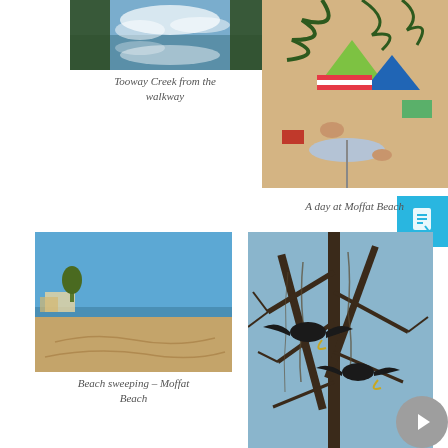[Figure (photo): Tooway Creek reflected in water with trees and clouds]
Tooway Creek from the walkway
[Figure (photo): A beach scene with people sunbathing, colorful tents and umbrellas on sandy beach, palm fronds in foreground]
A day at Moffat Beach
[Figure (photo): Wide sandy beach under blue sky, gentle waves, distant headland - Moffat Beach]
Beach sweeping – Moffat Beach
[Figure (photo): Black cockatoos or large dark birds perched in bare tree branches against blue sky]